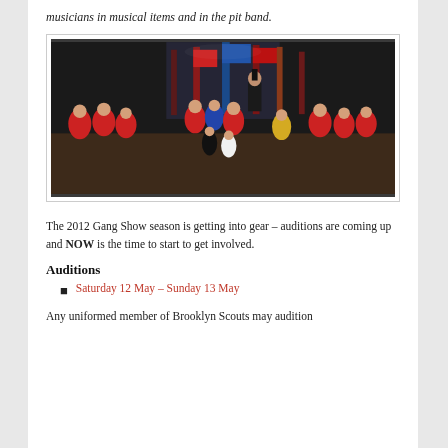musicians in musical items and in the pit band.
[Figure (photo): Group photo of performers on stage in costume, many wearing red shirts and period costumes, with flags in the background, taken during a Gang Show production.]
The 2012 Gang Show season is getting into gear – auditions are coming up and NOW is the time to start to get involved.
Auditions
Saturday 12 May – Sunday 13 May
Any uniformed member of Brooklyn Scouts may audition